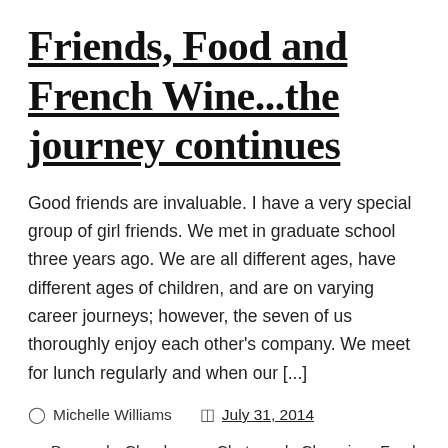Friends, Food and French Wine...the journey continues
Good friends are invaluable. I have a very special group of girl friends. We met in graduate school three years ago. We are all different ages, have different ages of children, and are on varying career journeys; however, the seven of us thoroughly enjoy each other's company. We meet for lunch regularly and when our [...]
Michelle Williams   July 31, 2014
Burgundy, Chardonnay, Chateau de Charmirey, Food, French Wine, Friends, Ladies Night Out, Music, Party, Pinot Noir